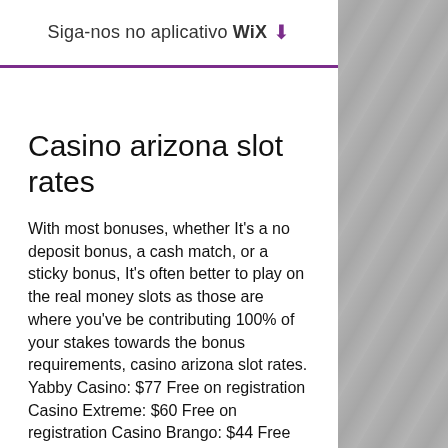Siga-nos no aplicativo WiX ⬇
Casino arizona slot rates
With most bonuses, whether It's a no deposit bonus, a cash match, or a sticky bonus, It's often better to play on the real money slots as those are where you've be contributing 100% of your stakes towards the bonus requirements, casino arizona slot rates. Yabby Casino: $77 Free on registration Casino Extreme: $60 Free on registration Casino Brango: $44 Free on signup Slotocash Casino: Free $31 Lincoln Casino: $15 Free. USA No Deposit Bonus Terms and Conditions. Next, we will explain the playthrough